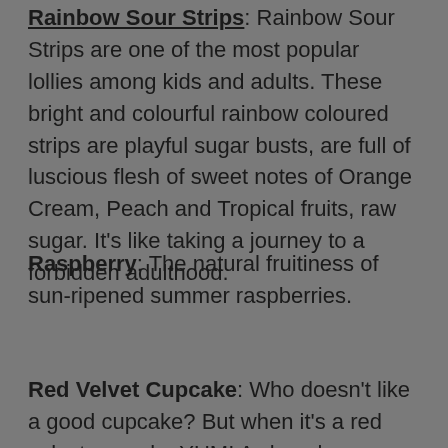Rainbow Sour Strips: Rainbow Sour Strips are one of the most popular lollies among kids and adults. These bright and colourful rainbow coloured strips are playful sugar busts, are full of luscious flesh of sweet notes of Orange Cream, Peach and Tropical fruits, raw sugar. It's like taking a journey to a forbidden adulthood.
Raspberry: The natural fruitiness of sun-ripened summer raspberries.
Red Velvet Cupcake: Who doesn't like a good cupcake? But when it's a red velvet cupcake YUM! A cleverly